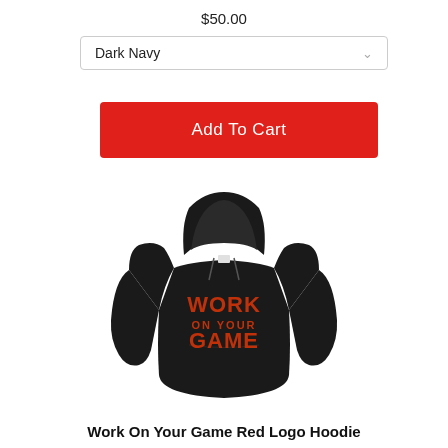$50.00
Dark Navy
Add To Cart
[Figure (photo): Black hoodie with 'WORK ON YOUR GAME' in red letters on the chest]
Work On Your Game Red Logo Hoodie